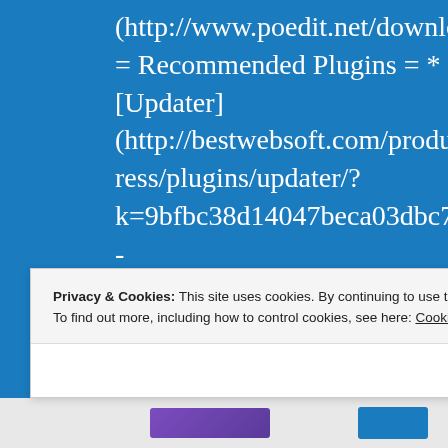(http://www.poedit.net/download.php). = Recommended Plugins = * [Updater] (http://bestwebsoft.com/products/wordpress/plugins/updater/?k=9bfbc38d14047beca03dbc74f96cc135) - Automatically check and update WordPress core with all installed plugins to the latest versions. Manual mode, email notifications and backups of all
Privacy & Cookies: This site uses cookies. By continuing to use this website, you agree to their use. To find out more, including how to control cookies, see here: Cookie Policy
Close and accept